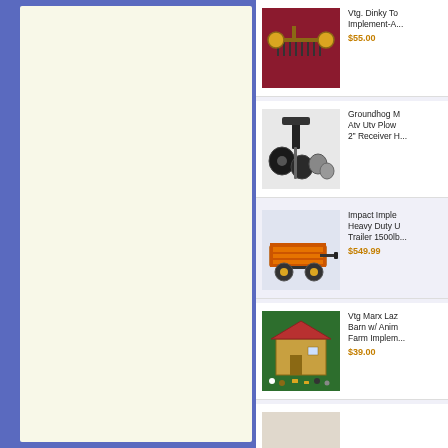[Figure (screenshot): Left panel with cream/yellow textured background inside a blue border]
[Figure (screenshot): Product listing: Vtg. Dinky Toy Implement-A... $55.00 with image of farm implement toy on red background]
[Figure (screenshot): Product listing: Groundhog M... Atv Utv Plow... 2 inch Receiver H... with image of black disc plow attachment]
[Figure (screenshot): Product listing: Impact Imple... Heavy Duty U... Trailer 1500lb... $549.99 with image of orange utility trailer]
[Figure (screenshot): Product listing: Vtg Marx Laz... Barn w/ Anim... Farm Implem... $39.00 with image of toy farm barn set]
[Figure (screenshot): Partial product listing at bottom, image partially visible]